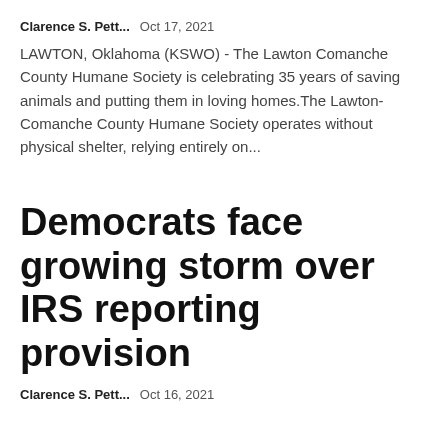Clarence S. Pett...   Oct 17, 2021
LAWTON, Oklahoma (KSWO) - The Lawton Comanche County Humane Society is celebrating 35 years of saving animals and putting them in loving homes.The Lawton-Comanche County Humane Society operates without physical shelter, relying entirely on...
Democrats face growing storm over IRS reporting provision
Clarence S. Pett...   Oct 16, 2021